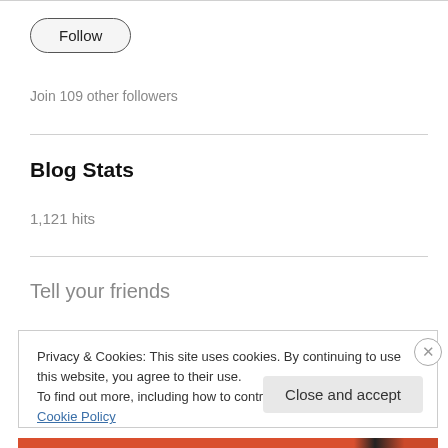Follow
Join 109 other followers
Blog Stats
1,121 hits
Tell your friends
Privacy & Cookies: This site uses cookies. By continuing to use this website, you agree to their use.
To find out more, including how to control cookies, see here: Cookie Policy
Close and accept